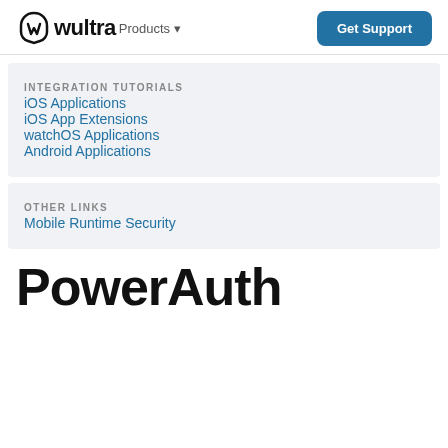wultra Products · Get Support
INTEGRATION TUTORIALS
iOS Applications
iOS App Extensions
watchOS Applications
Android Applications
OTHER LINKS
Mobile Runtime Security
PowerAuth